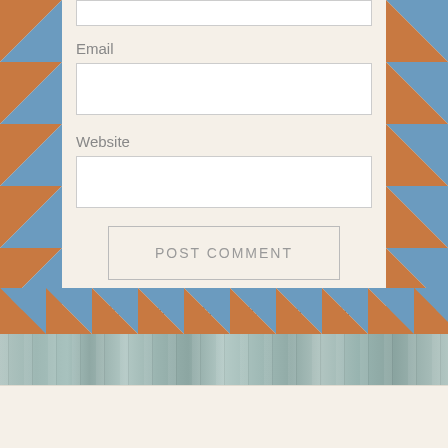[Figure (illustration): Airmail-style decorative border on left side with alternating blue and terracotta/brown diagonal stripes]
[Figure (illustration): Airmail-style decorative border on right side with alternating blue and terracotta/brown diagonal stripes]
Email
[Figure (other): Empty white input field for Email]
Website
[Figure (other): Empty white input field for Website]
POST COMMENT
Notify me of new comments via email.
Notify me of new posts via email.
[Figure (illustration): Wood plank texture strip at bottom of page]
[Figure (illustration): Bottom airmail border strip with blue and terracotta diagonal stripes]